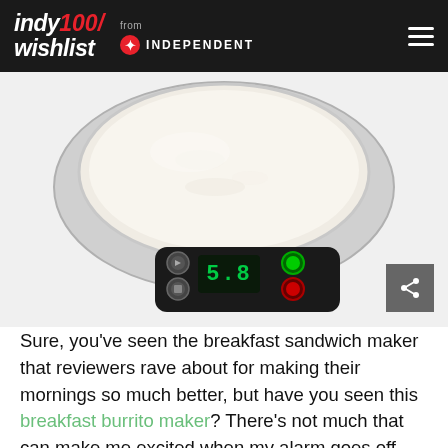indy100/wishlist from INDEPENDENT
[Figure (photo): Close-up of a breakfast burrito maker appliance showing the circular tray filled with batter and the digital control panel displaying '5.8' with green and red indicator lights.]
Sure, you've seen the breakfast sandwich maker that reviewers rave about for making their mornings so much better, but have you seen this breakfast burrito maker? There's not much that can make me excited when my alarm goes off, but this gadget that makes piping hot, cheesy, eggy goodness in a warm burrito is very promising. You can also use it for crepes or